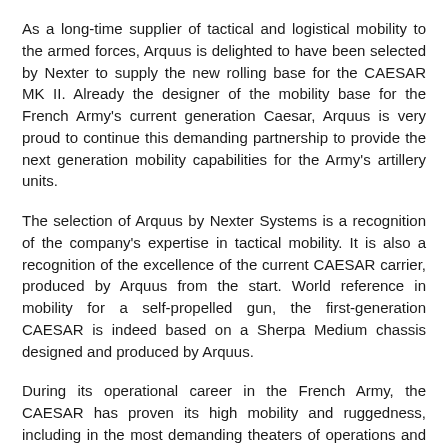As a long-time supplier of tactical and logistical mobility to the armed forces, Arquus is delighted to have been selected by Nexter to supply the new rolling base for the CAESAR MK II. Already the designer of the mobility base for the French Army's current generation Caesar, Arquus is very proud to continue this demanding partnership to provide the next generation mobility capabilities for the Army's artillery units.
The selection of Arquus by Nexter Systems is a recognition of the company's expertise in tactical mobility. It is also a recognition of the excellence of the current CAESAR carrier, produced by Arquus from the start. World reference in mobility for a self-propelled gun, the first-generation CAESAR is indeed based on a Sherpa Medium chassis designed and produced by Arquus.
During its operational career in the French Army, the CAESAR has proven its high mobility and ruggedness, including in the most demanding theaters of operations and environments. Within Task Force Wagram in Iraq in particular, the CAESAR has proven the relevance of its design choices, appreciated by user units for its mobility and robustness, as well as by maintainers for its ease of maintenance.